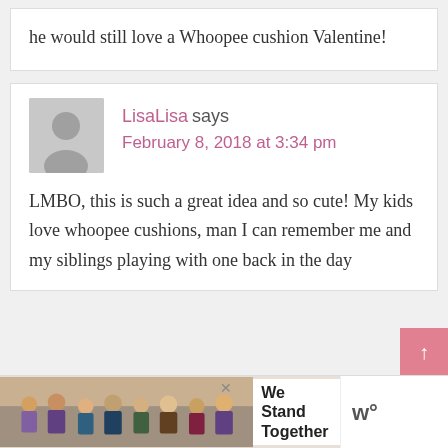he would still love a Whoopee cushion Valentine!
LisaLisa says
February 8, 2018 at 3:34 pm
LMBO, this is such a great idea and so cute! My kids love whoopee cushions, man I can remember me and my siblings playing with one back in the day
[Figure (photo): Advertisement banner showing people standing together with text 'We Stand Together']